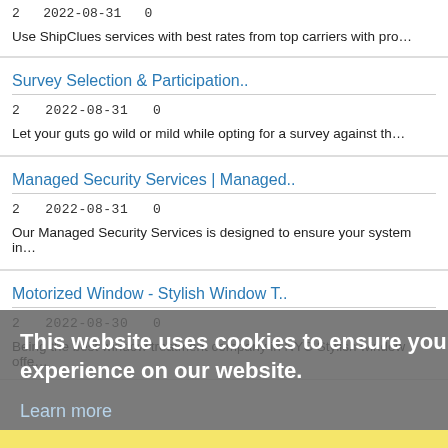2   2022-08-31   0
Use ShipClues services with best rates from top carriers with pro...
Survey Selection & Participation..
2   2022-08-31   0
Let your guts go wild or mild while opting for a survey against th...
Managed Security Services | Managed..
2   2022-08-31   0
Our Managed Security Services is designed to ensure your system in...
Motorized Window - Stylish Window T..
2   2022-08-30   0
Being the best window treatment company in NYC Stylish window offe...
This website uses cookies to ensure you get the best experience on our website.
Learn more
Got it!